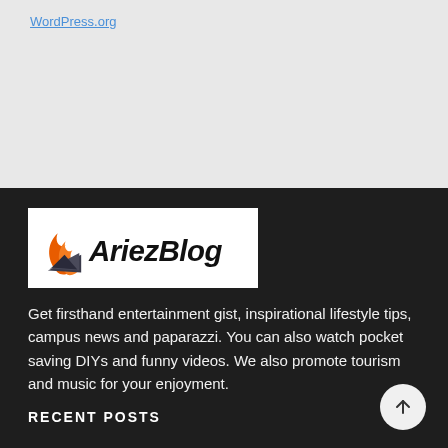WordPress.org
[Figure (logo): AriezBlog logo — flame/arrow icon in orange and dark gray on left, text 'AriezBlog' in bold black italic on white background]
Get firsthand entertainment gist, inspirational lifestyle tips, campus news and paparazzi. You can also watch pocket saving DIYs and funny videos. We also promote tourism and music for your enjoyment.
RECENT POSTS